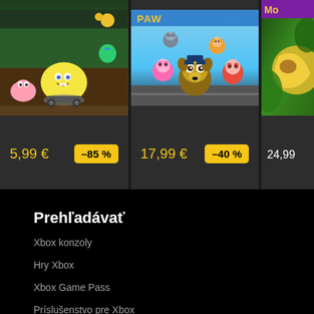[Figure (screenshot): Game card for Nickelodeon kart racing game featuring SpongeBob and other characters, price 5,99 € with -85% discount badge]
[Figure (screenshot): Game card for PAW Patrol game featuring Chase and other pups, price 17,99 € with -40% discount badge]
[Figure (screenshot): Partially visible third game card showing price 24,99 and a purple MO badge]
Prehľadávať
Xbox konzoly
Hry Xbox
Xbox Game Pass
Príslušenstvo pre Xbox